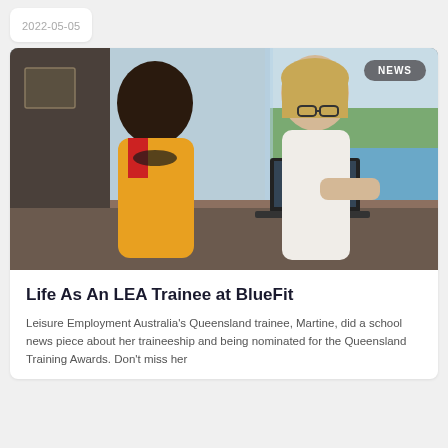2022-05-05
[Figure (photo): Two women working together at a laptop at what appears to be a reception desk near a swimming pool facility. One woman is wearing a yellow and red uniform, the other is wearing a white blouse and glasses.]
Life As An LEA Trainee at BlueFit
Leisure Employment Australia's Queensland trainee, Martine, did a school news piece about her traineeship and being nominated for the Queensland Training Awards. Don't miss her